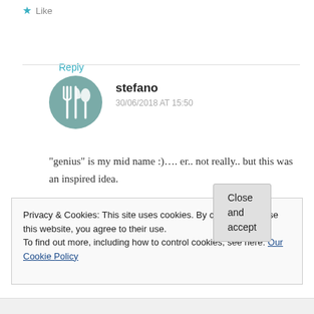★ Like
Reply
[Figure (illustration): Circular avatar with fork and spoon icon on teal/grey background]
stefano
30/06/2018 AT 15:50
"genius" is my mid name :)…. er.. not really.. but this was an inspired idea. courgette flowers do not exist here in London… I remember in Italy frying them by
Privacy & Cookies: This site uses cookies. By continuing to use this website, you agree to their use.
To find out more, including how to control cookies, see here: Our Cookie Policy
Close and accept